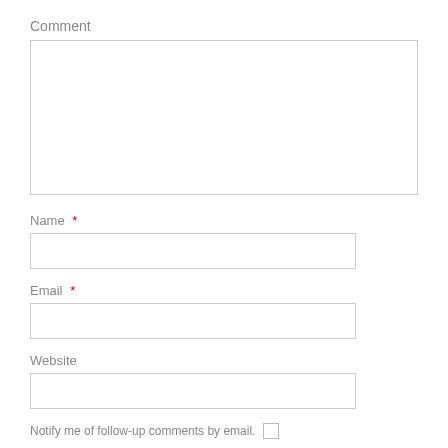Comment
Name *
Email *
Website
Notify me of follow-up comments by email.